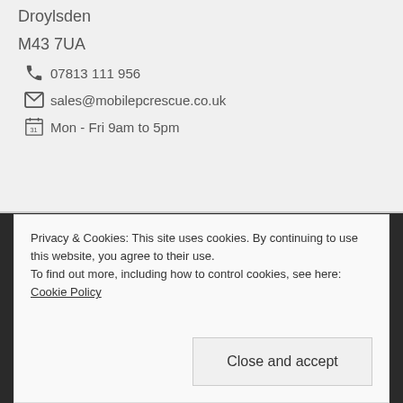Droylsden
M43 7UA
07813 111 956
sales@mobilepcrescue.co.uk
Mon - Fri 9am to 5pm
[Figure (infographic): Social media icons: Facebook (f), Twitter (bird), LinkedIn (in) in teal color on dark background]
Privacy & Cookies: This site uses cookies. By continuing to use this website, you agree to their use.
To find out more, including how to control cookies, see here: Cookie Policy
Close and accept